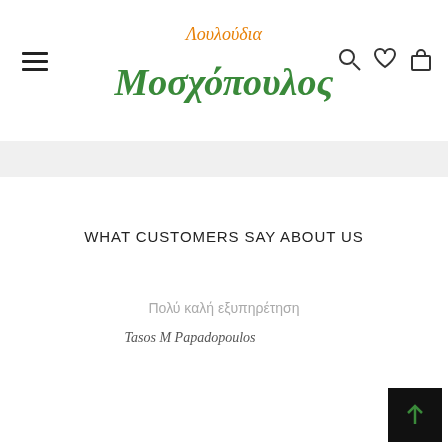[Figure (logo): Λουλούδια Μοσχόπουλος green and orange handwritten logo with hamburger menu and nav icons (search, heart, bag)]
WHAT CUSTOMERS SAY ABOUT US
Πολύ καλή εξυπηρέτηση
Tasos M Papadopoulos